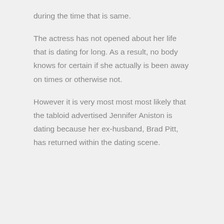during the time that is same.
The actress has not opened about her life that is dating for long. As a result, no body knows for certain if she actually is been away on times or otherwise not.
However it is very most most most likely that the tabloid advertised Jennifer Aniston is dating because her ex-husband, Brad Pitt, has returned within the dating scene.